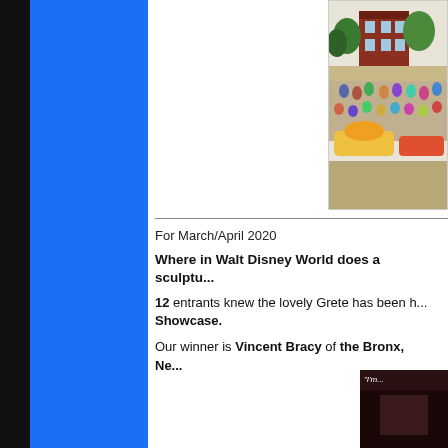[Figure (illustration): Colorful illustrated scene of Walt Disney World area with buildings, crowds and outdoor scenery]
For March/April 2020
Where in Walt Disney World does a sculptu...
12 entrants knew the lovely Grete has been h... Showcase.
Our winner is Vincent Bracy of the Bronx, Ne...
[Figure (photo): Small dark image with white text beginning with "I'm..."]